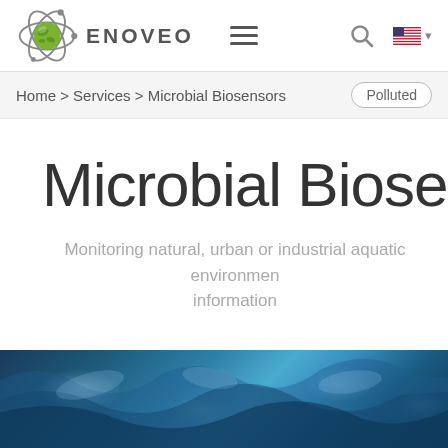[Figure (logo): Enoveo logo with globe and molecule orbital graphic, brand name ENOVEO]
Home > Services > Microbial Biosensors
Polluted
Microbial Biosensors
Monitoring natural, urban or industrial aquatic environments information
[Figure (photo): Close-up blue-tinted water splash or aquatic environment photo]